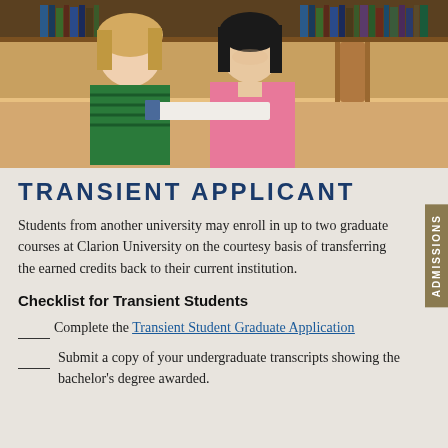[Figure (photo): Two women sitting at a library table with books open, smiling at the camera. Bookshelves with many books are visible in the background. One woman wears a green striped top, the other wears a pink blazer.]
TRANSIENT APPLICANT
Students from another university may enroll in up to two graduate courses at Clarion University on the courtesy basis of transferring the earned credits back to their current institution.
Checklist for Transient Students
____ Complete the Transient Student Graduate Application
____ Submit a copy of your undergraduate transcripts showing the bachelor's degree awarded.